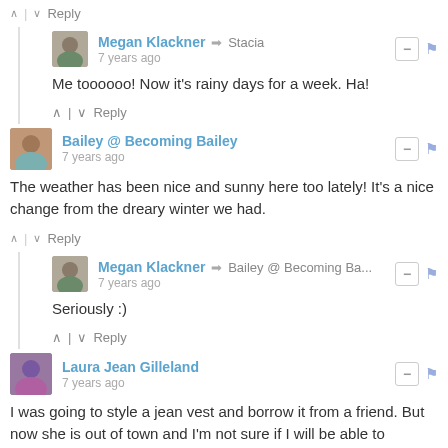^ | v Reply
Megan Klackner → Stacia
7 years ago
Me toooooo! Now it's rainy days for a week. Ha!
^ | v Reply
Bailey @ Becoming Bailey
7 years ago
The weather has been nice and sunny here too lately! It's a nice change from the dreary winter we had.
^ | v Reply
Megan Klackner → Bailey @ Becoming Ba...
7 years ago
Seriously :)
^ | v Reply
Laura Jean Gilleland
7 years ago
I was going to style a jean vest and borrow it from a friend. But now she is out of town and I'm not sure if I will be able to